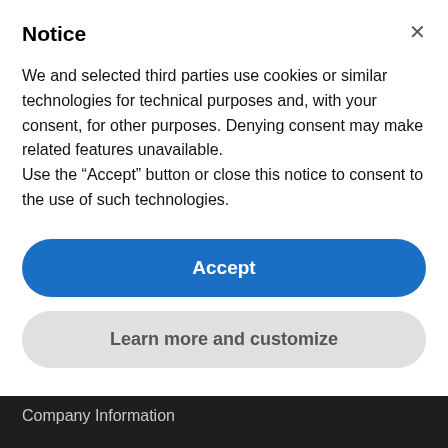Notice
We and selected third parties use cookies or similar technologies for technical purposes and, with your consent, for other purposes. Denying consent may make related features unavailable.
Use the “Accept” button or close this notice to consent to the use of such technologies.
Accept
Learn more and customize
About Us
Board of Directors
The REPX Story
Advisors
Company Information